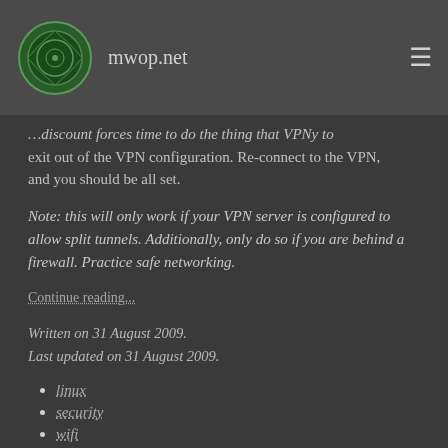mwop.net
…exit out of the VPN configuration. Re-connect to the VPN, and you should be all set.
Note: this will only work if your VPN server is configured to allow split tunnels. Additionally, only do so if you are behind a firewall. Practice safe networking.
Continue reading...
Written on 31 August 2009.
Last updated on 31 August 2009.
linux
security
wifi